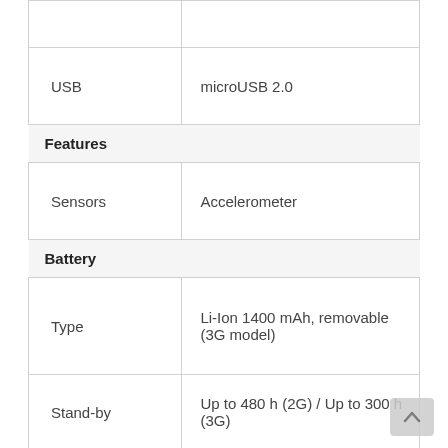| Feature | Value |
| --- | --- |
|  |  |
| USB | microUSB 2.0 |
| Features |  |
| Sensors | Accelerometer |
| Battery |  |
| Type | Li-Ion 1400 mAh, removable (3G model) |
| Stand-by | Up to 480 h (2G) / Up to 300 h (3G) |
| Talk time | Up to 10 h (2G) / Up to 9 h 30 min (3G) |
| Type | Li-Ion 1780 mAh battery (4G model) |
| Stand-by | Up to 270 h |
| Talk time | Up to 10 h |